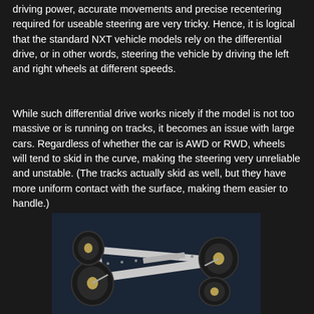driving power, accurate movements and precise recentering required for useable steering are very tricky. Hence, it is logical that the standard NXT vehicle models rely on the differential drive, or in other words, steering the vehicle by driving the left and right wheels at different speeds.
While such differential drive works nicely if the model is not too massive or is running on tracks, it becomes an issue with large cars. Regardless of whether the car is AWD or RWD, wheels will tend to skid in the curve, making the steering very unreliable and unstable. (The tracks actually skid as well, but they have more uniform contact with the surface, making them easier to handle.)
[Figure (photo): Photo of a LEGO Technic/NXT vehicle chassis with four large black wheels and a gray beam frame structure, photographed on a dark blue surface.]